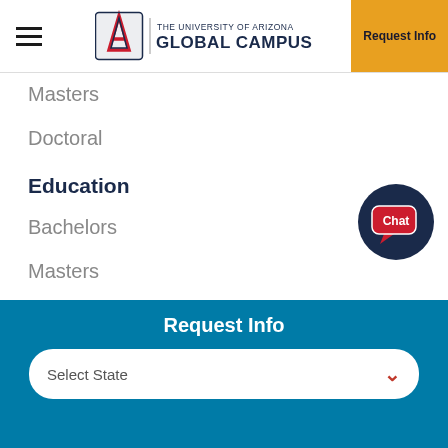The University of Arizona Global Campus — Request Info
Masters
Doctoral
Education
Bachelors
Masters
Doctoral
Associates
Information Technology
Bachelors
Masters
Request Info
Select State